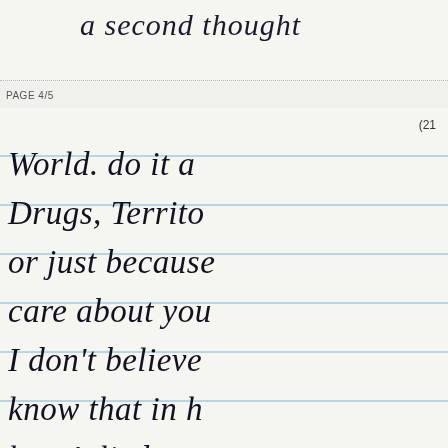a second thought
PAGE 4/5
(21
World. do it a
Drugs, Territori
or just because
care about you
I don't believe
know that in h
hasn't lied to
ple in the Hou